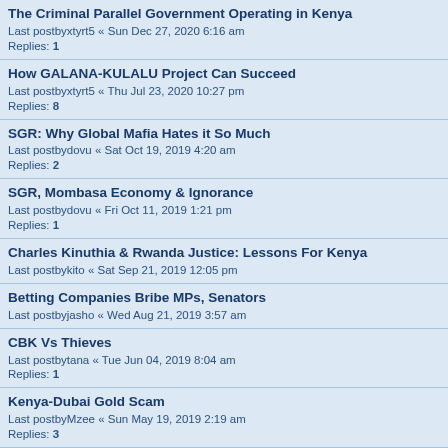The Criminal Parallel Government Operating in Kenya
Last postbyxtyrt5 « Sun Dec 27, 2020 6:16 am
Replies: 1
How GALANA-KULALU Project Can Succeed
Last postbyxtyrt5 « Thu Jul 23, 2020 10:27 pm
Replies: 8
SGR: Why Global Mafia Hates it So Much
Last postbydovu « Sat Oct 19, 2019 4:20 am
Replies: 2
SGR, Mombasa Economy & Ignorance
Last postbydovu « Fri Oct 11, 2019 1:21 pm
Replies: 1
Charles Kinuthia & Rwanda Justice: Lessons For Kenya
Last postbykito « Sat Sep 21, 2019 12:05 pm
Betting Companies Bribe MPs, Senators
Last postbyjasho « Wed Aug 21, 2019 3:57 am
CBK Vs Thieves
Last postbytana « Tue Jun 04, 2019 8:04 am
Replies: 1
Kenya-Dubai Gold Scam
Last postbyMzee « Sun May 19, 2019 2:19 am
Replies: 3
New 19 Billion Dam Scandal: Kenyan Media Bias Against Chinese Companies
Last postbydovu « Mon May 13, 2019 10:32 am
Replies: 1